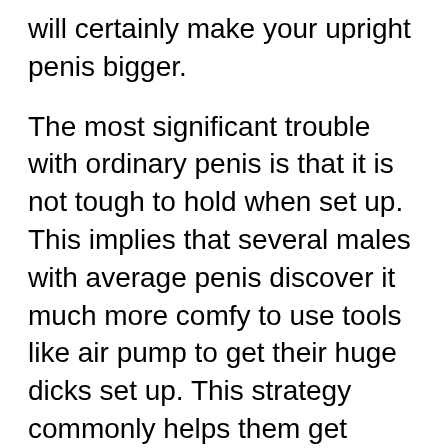will certainly make your upright penis bigger.
The most significant trouble with ordinary penis is that it is not tough to hold when set up. This implies that several males with average penis discover it much more comfy to use tools like air pump to get their huge dicks set up. This strategy commonly helps them get about eight inches. If you get an erection, you can after that use a vacuum cleaner to suck the blood from your root to your head. This should give you a maximum of eighteen inches when erect.
To get your huge penis, you need to recognize exactly how females choose it. Some ladies like girth while others choose size. The larger the penises are, the more